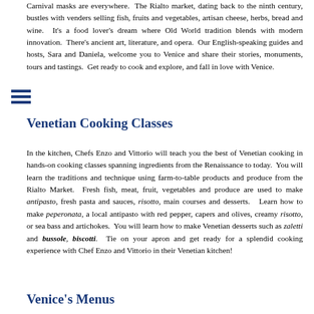Carnival masks are everywhere. The Rialto market, dating back to the ninth century, bustles with venders selling fish, fruits and vegetables, artisan cheese, herbs, bread and wine. It's a food lover's dream where Old World tradition blends with modern innovation. There's ancient art, literature, and opera. Our English-speaking guides and hosts, Sara and Daniela, welcome you to Venice and share their stories, monuments, tours and tastings. Get ready to cook and explore, and fall in love with Venice.
Venetian Cooking Classes
In the kitchen, Chefs Enzo and Vittorio will teach you the best of Venetian cooking in hands-on cooking classes spanning ingredients from the Renaissance to today. You will learn the traditions and technique using farm-to-table products and produce from the Rialto Market. Fresh fish, meat, fruit, vegetables and produce are used to make antipasto, fresh pasta and sauces, risotto, main courses and desserts. Learn how to make peperonata, a local antipasto with red pepper, capers and olives, creamy risotto, or sea bass and artichokes. You will learn how to make Venetian desserts such as zaletti and bussole, biscotti. Tie on your apron and get ready for a splendid cooking experience with Chef Enzo and Vittorio in their Venetian kitchen!
Venice's Menus